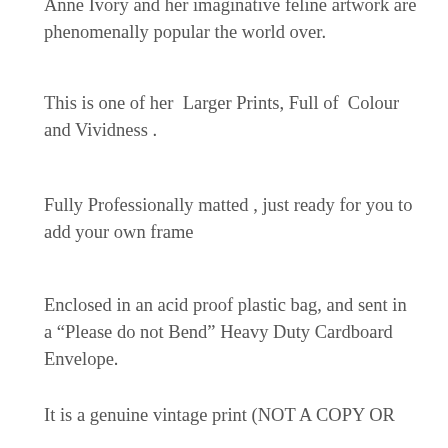Anne Ivory and her imaginative feline artwork are phenomenally popular the world over.
This is one of her  Larger Prints, Full of  Colour and Vividness .
Fully Professionally matted , just ready for you to add your own frame
Enclosed in an acid proof plastic bag, and sent in a “Please do not Bend” Heavy Duty Cardboard Envelope.
It is a genuine vintage print (NOT A COPY OR